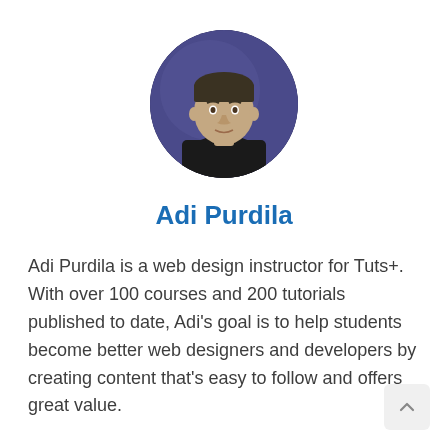[Figure (photo): Circular profile photo of Adi Purdila, a man in a dark shirt against a dark purple/blue background]
Adi Purdila
Adi Purdila is a web design instructor for Tuts+. With over 100 courses and 200 tutorials published to date, Adi's goal is to help students become better web designers and developers by creating content that's easy to follow and offers great value.
Being self-taught himself, Adi strongly believes that constant learning